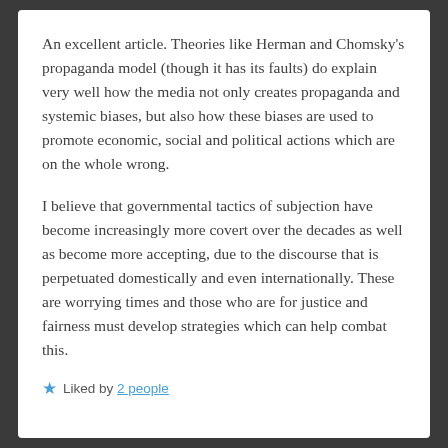An excellent article. Theories like Herman and Chomsky's propaganda model (though it has its faults) do explain very well how the media not only creates propaganda and systemic biases, but also how these biases are used to promote economic, social and political actions which are on the whole wrong.
I believe that governmental tactics of subjection have become increasingly more covert over the decades as well as become more accepting, due to the discourse that is perpetuated domestically and even internationally. These are worrying times and those who are for justice and fairness must develop strategies which can help combat this.
★ Liked by 2 people